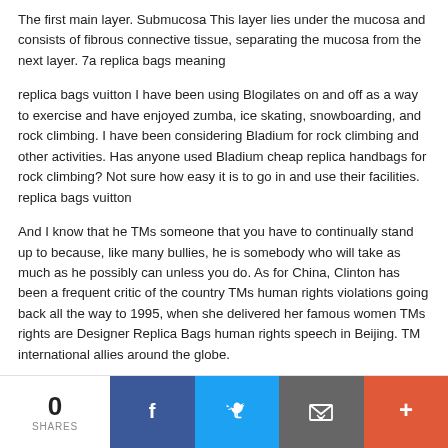The first main layer. Submucosa This layer lies under the mucosa and consists of fibrous connective tissue, separating the mucosa from the next layer. 7a replica bags meaning
replica bags vuitton I have been using Blogilates on and off as a way to exercise and have enjoyed zumba, ice skating, snowboarding, and rock climbing. I have been considering Bladium for rock climbing and other activities. Has anyone used Bladium cheap replica handbags for rock climbing? Not sure how easy it is to go in and use their facilities. replica bags vuitton
And I know that he TMs someone that you have to continually stand up to because, like many bullies, he is somebody who will take as much as he possibly can unless you do. As for China, Clinton has been a frequent critic of the country TMs human rights violations going back all the way to 1995, when she delivered her famous women TMs rights are Designer Replica Bags human rights speech in Beijing. TM international allies around the globe.
0 SHARES [Facebook] [Twitter] [Email] [+]